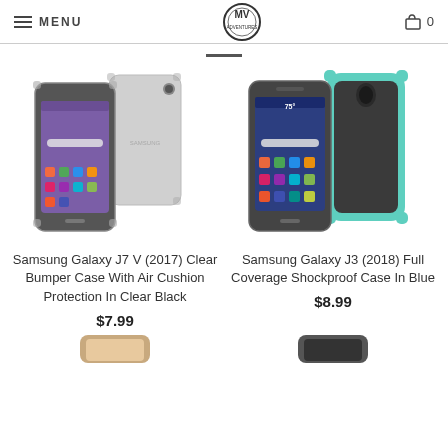MENU | MV Logo | 0
[Figure (photo): Samsung Galaxy J7 V (2017) phone shown front and back with clear bumper case]
Samsung Galaxy J7 V (2017) Clear Bumper Case With Air Cushion Protection In Clear Black
$7.99
[Figure (photo): Samsung Galaxy J3 (2018) phone shown front and back with blue/teal shockproof case]
Samsung Galaxy J3 (2018) Full Coverage Shockproof Case In Blue
$8.99